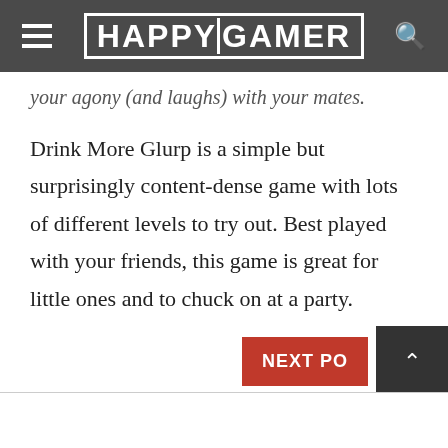HAPPYGAMER
your agony (and laughs) with your mates.
Drink More Glurp is a simple but surprisingly content-dense game with lots of different levels to try out. Best played with your friends, this game is great for little ones and to chuck on at a party.